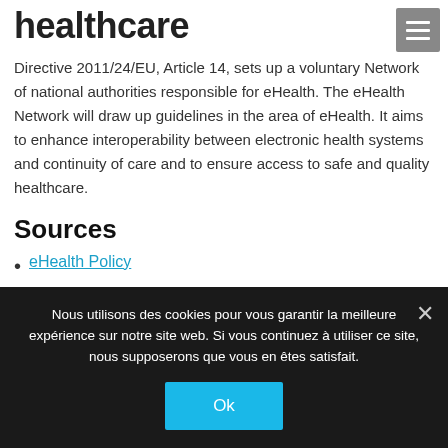healthcare
Directive 2011/24/EU, Article 14, sets up a voluntary Network of national authorities responsible for eHealth. The eHealth Network will draw up guidelines in the area of eHealth. It aims to enhance interoperability between electronic health systems and continuity of care and to ensure access to safe and quality healthcare.
Sources
eHealth Policy
Digital Single Market Strategy for Europe
Nous utilisons des cookies pour vous garantir la meilleure expérience sur notre site web. Si vous continuez à utiliser ce site, nous supposerons que vous en êtes satisfait.
Ok